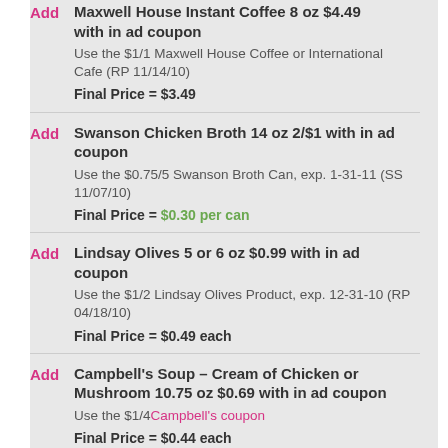Maxwell House Instant Coffee 8 oz $4.49 with in ad coupon
Use the $1/1 Maxwell House Coffee or International Cafe (RP 11/14/10)
Final Price = $3.49
Swanson Chicken Broth 14 oz 2/$1 with in ad coupon
Use the $0.75/5 Swanson Broth Can, exp. 1-31-11 (SS 11/07/10)
Final Price = $0.30 per can
Lindsay Olives 5 or 6 oz $0.99 with in ad coupon
Use the $1/2 Lindsay Olives Product, exp. 12-31-10 (RP 04/18/10)
Final Price = $0.49 each
Campbell's Soup – Cream of Chicken or Mushroom 10.75 oz $0.69 with in ad coupon
Use the $1/4 Campbell's coupon
Final Price = $0.44 each